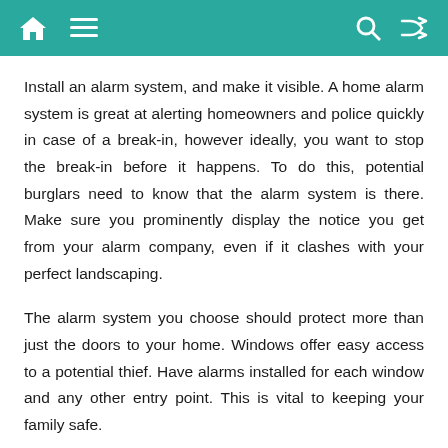Navigation header with home, menu, search, and shuffle icons
Install an alarm system, and make it visible. A home alarm system is great at alerting homeowners and police quickly in case of a break-in, however ideally, you want to stop the break-in before it happens. To do this, potential burglars need to know that the alarm system is there. Make sure you prominently display the notice you get from your alarm company, even if it clashes with your perfect landscaping.
The alarm system you choose should protect more than just the doors to your home. Windows offer easy access to a potential thief. Have alarms installed for each window and any other entry point. This is vital to keeping your family safe.
When you purchase big, expensive items be sure to break down the boxes and take them to the recycling center yourself. Exposing the box to view ahead of time signals a